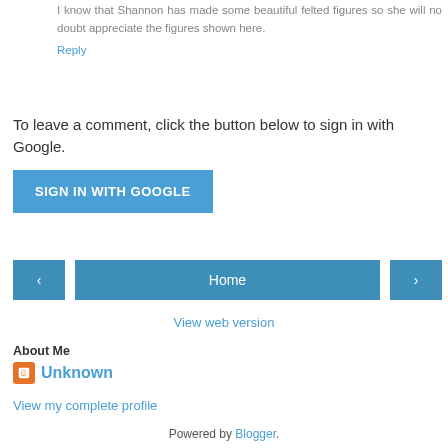I know that Shannon has made some beautiful felted figures so she will no doubt appreciate the figures shown here.
Reply
To leave a comment, click the button below to sign in with Google.
SIGN IN WITH GOOGLE
‹
Home
›
View web version
About Me
Unknown
View my complete profile
Powered by Blogger.